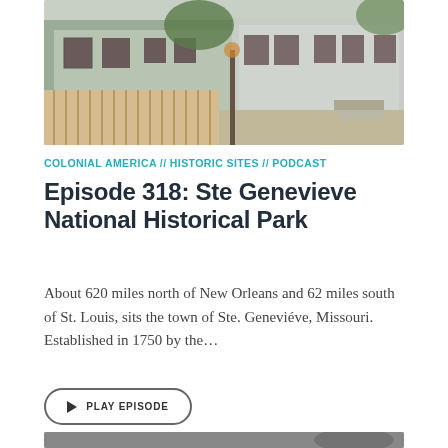[Figure (photo): Color photograph of historic colonial-era buildings with wooden fence along a street in Ste. Genevieve, Missouri]
COLONIAL AMERICA // HISTORIC SITES // PODCAST
Episode 318: Ste Genevieve National Historical Park
About 620 miles north of New Orleans and 62 miles south of St. Louis, sits the town of Ste. Geneviéve, Missouri. Established in 1750 by the…
▶ PLAY EPISODE
[Figure (photo): Black and white photograph of a historic building partially visible at bottom of page]